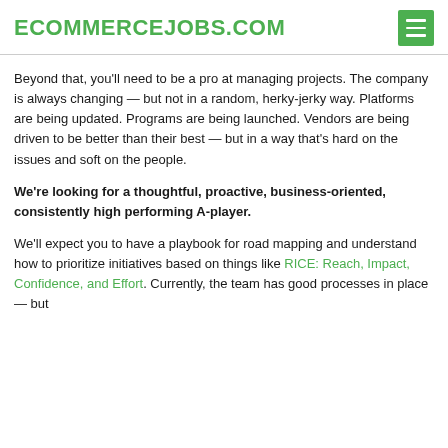ECOMMERCEJOBS.COM
Beyond that, you'll need to be a pro at managing projects. The company is always changing — but not in a random, herky-jerky way. Platforms are being updated. Programs are being launched. Vendors are being driven to be better than their best — but in a way that's hard on the issues and soft on the people.
We're looking for a thoughtful, proactive, business-oriented, consistently high performing A-player.
We'll expect you to have a playbook for road mapping and understand how to prioritize initiatives based on things like RICE: Reach, Impact, Confidence, and Effort. Currently, the team has good processes in place — but